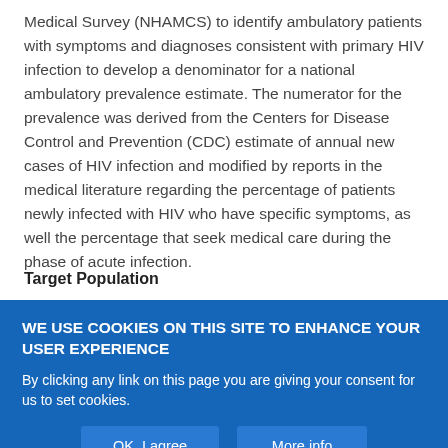Medical Survey (NHAMCS) to identify ambulatory patients with symptoms and diagnoses consistent with primary HIV infection to develop a denominator for a national ambulatory prevalence estimate. The numerator for the prevalence was derived from the Centers for Disease Control and Prevention (CDC) estimate of annual new cases of HIV infection and modified by reports in the medical literature regarding the percentage of patients newly infected with HIV who have specific symptoms, as well the percentage that seek medical care during the phase of acute infection.
Target Population
WE USE COOKIES ON THIS SITE TO ENHANCE YOUR USER EXPERIENCE
By clicking any link on this page you are giving your consent for us to set cookies.